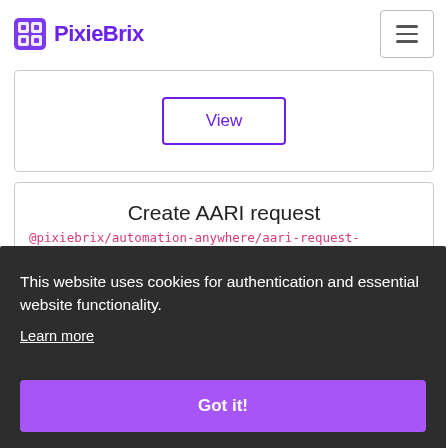PixieBrix
View
Create AARI request
@pixiebrix/automation-anywhere/aari-request-
This website uses cookies for authentication and essential website functionality.
Learn more
Got it!